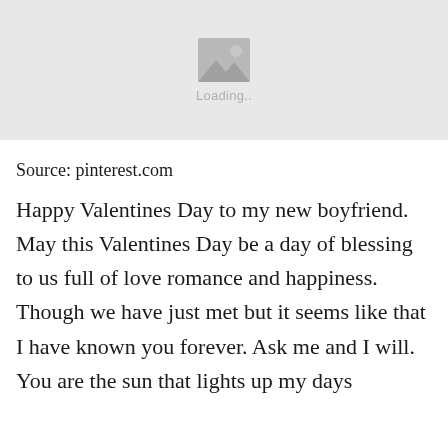[Figure (other): Image loading placeholder with mountain/photo icon and 'Loading..' text on a light grey background]
Source: pinterest.com
Happy Valentines Day to my new boyfriend. May this Valentines Day be a day of blessing to us full of love romance and happiness. Though we have just met but it seems like that I have known you forever. Ask me and I will. You are the sun that lights up my days